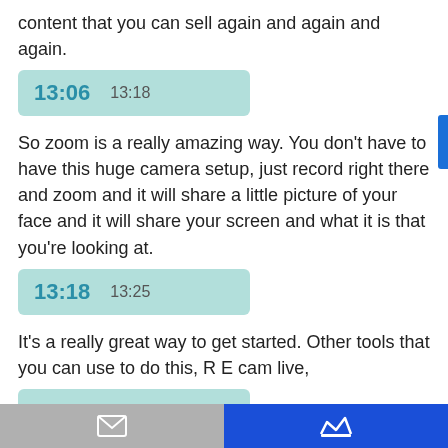content that you can sell again and again and again.
[Figure (other): Timestamp bar showing 13:06 to 13:18]
So zoom is a really amazing way. You don't have to have this huge camera setup, just record right there and zoom and it will share a little picture of your face and it will share your screen and what it is that you're looking at.
[Figure (other): Timestamp bar showing 13:18 to 13:25]
It's a really great way to get started. Other tools that you can use to do this, R E cam live,
[Figure (other): Timestamp bar showing 13:25 to 13:32]
we love e-comm live e-com live is a more advanced streaming tool, but ECAN live lets you
email icon | crown icon